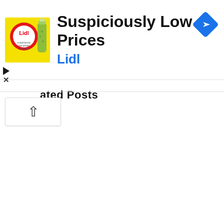[Figure (screenshot): Lidl advertisement banner with yellow square logo showing Lidl branding and a cartoon pickle character, title 'Suspiciously Low Prices', brand name 'Lidl' in blue, and a blue diamond-shaped navigation icon in the top right. Below is a partially visible 'ated Posts' section header with an upward chevron button.]